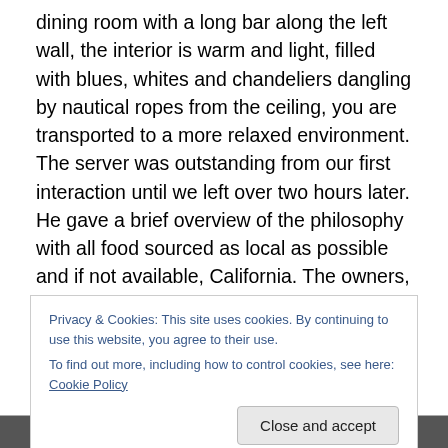dining room with a long bar along the left wall, the interior is warm and light, filled with blues, whites and chandeliers dangling by nautical ropes from the ceiling, you are transported to a more relaxed environment. The server was outstanding from our first interaction until we left over two hours later. He gave a brief overview of the philosophy with all food sourced as local as possible and if not available, California. The owners, Allison Yoder and Stephen Rogers returned to Rogers' home town of Dallas from the Napa Valley where Rogers was the Executive Chef at PRESS. He now oversees Gemma's kitchen, while
Privacy & Cookies: This site uses cookies. By continuing to use this website, you agree to their use.
To find out more, including how to control cookies, see here: Cookie Policy
Close and accept